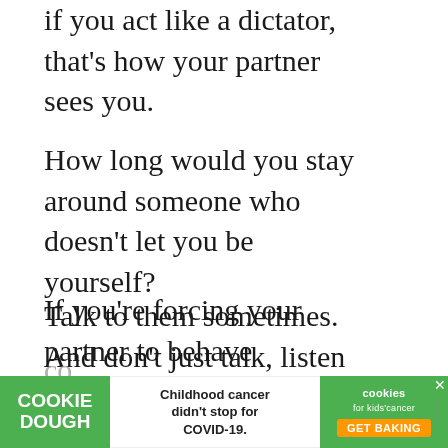if you act like a dictator, that's how your partner sees you.
How long would you stay around someone who doesn't let you be yourself?
If you're forcing your partner to behave according to your standards, your relationship is doomed.
Talk to them sometimes. And don't just talk, listen to them. Hear them out and
[Figure (screenshot): Advertisement banner: Cookie Dough - Childhood cancer didn't stop for COVID-19. Cookies for kids' cancer - GET BAKING]